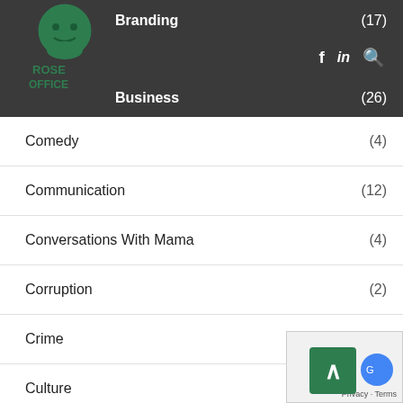[Figure (logo): Rose Office website logo - green illustrated logo with text]
Branding (17)
Business (26)
Comedy (4)
Communication (12)
Conversations With Mama (4)
Corruption (2)
Crime
Culture (5)